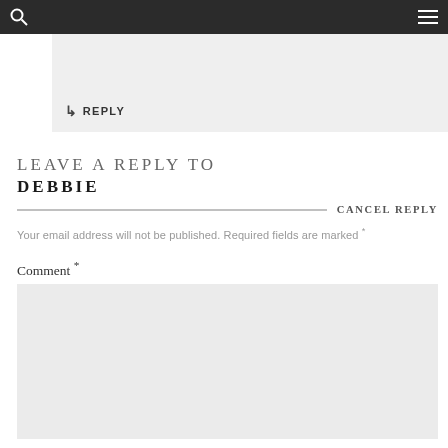↳ REPLY
LEAVE A REPLY TO DEBBIE
CANCEL REPLY
Your email address will not be published. Required fields are marked *
Comment *